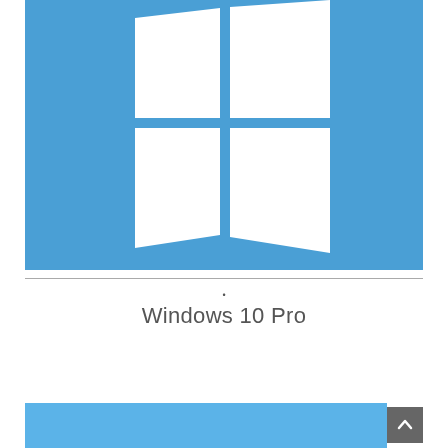[Figure (logo): Windows 10 logo — white four-pane window/flag icon on a blue background]
Windows 10 Pro